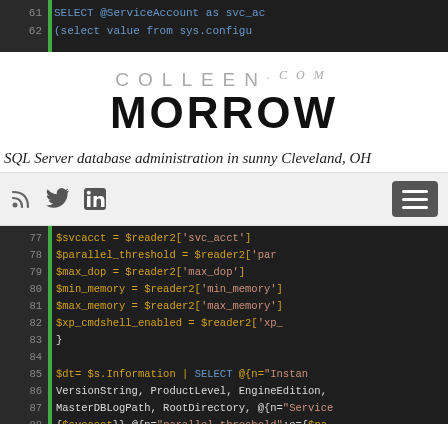[Figure (screenshot): Top code strip showing SQL lines 61-62 in dark editor with blue SQL text]
[Figure (logo): ColleenMorrow.com website logo]
SQL Server database administration in sunny Cleveland, OH
[Figure (screenshot): Navigation bar with RSS, Twitter, LinkedIn icons and hamburger menu button]
[Figure (screenshot): Code editor screenshot showing lines 77-89 with PowerShell/SQL code]